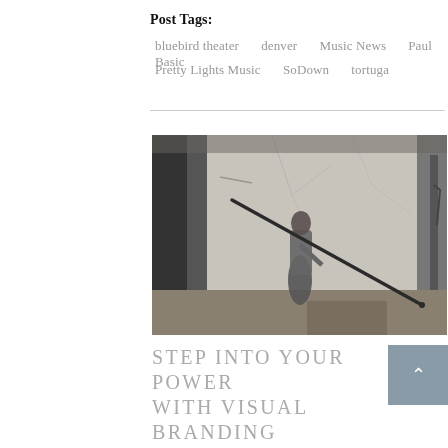Post Tags:
bluebird theater   denver   Music News   Paul Basic
Pretty Lights Music   SoDown   tortuga
[Figure (photo): Black and white photograph of a person standing in a cracked plaster room, holding a long diagonal pole or stick that extends across the frame, with a wooden box in the foreground.]
STEP INTO YOUR POWER WITH VISUAL BRANDING